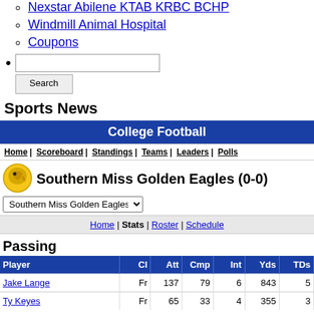Nexstar Abilene KTAB KRBC BCHP
Windmill Animal Hospital
Coupons
Sports News
College Football
Home | Scoreboard | Standings | Teams | Leaders | Polls
[Figure (logo): Southern Miss Golden Eagles logo]
Southern Miss Golden Eagles (0-0)
Southern Miss Golden Eagles dropdown
Home | Stats | Roster | Schedule
Passing
| Player | Cl | Att | Cmp | Int | Yds | TDs |
| --- | --- | --- | --- | --- | --- | --- |
| Jake Lange | Fr | 137 | 79 | 6 | 843 | 5 |
| Ty Keyes | Fr | 65 | 33 | 4 | 355 | 3 |